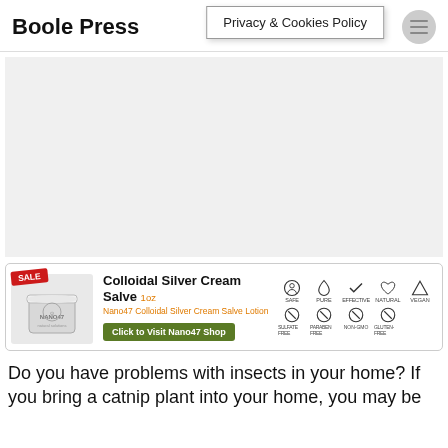Boole Press
Privacy & Cookies Policy
[Figure (other): Large empty white/light gray content area placeholder]
[Figure (other): Advertisement banner for Nano47 Colloidal Silver Cream Salve 1oz with SALE badge, product image, icons for SAFE, PURE, EFFECTIVE, NATURAL, VEGAN, SULFATE FREE, PARABEN FREE, NON-GMO, GLUTEN-FREE, and a green Click to Visit Nano47 Shop button]
Do you have problems with insects in your home? If you bring a catnip plant into your home, you may be